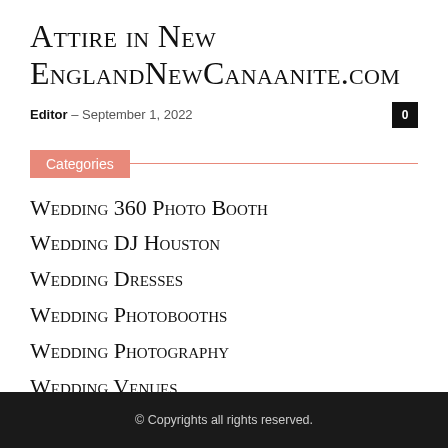Attire in New EnglandNewCanaanite.com
Editor – September 1, 2022
Categories
Wedding 360 Photo Booth
Wedding DJ Houston
Wedding Dresses
Wedding Photobooths
Wedding Photography
Wedding Venues
© Copyrights all rights reserved.